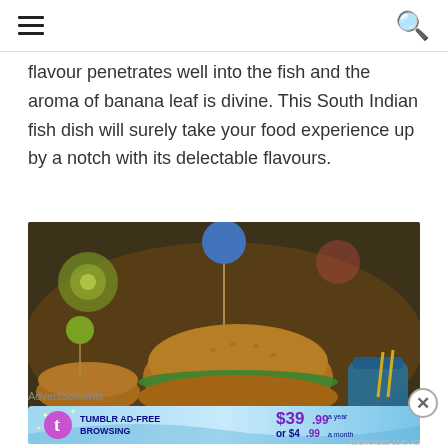☰ [menu icon]   [search icon]
flavour penetrates well into the fish and the aroma of banana leaf is divine. This South Indian fish dish will surely take your food experience up by a notch with its delectable flavours.
[Figure (photo): Close-up photo of mini sliders/burgers on toothpicks with colorful ball decorations (blue, green) on top, with a blurred colorful restaurant background]
Advertisements
[Figure (other): Tumblr Ad-Free Browsing advertisement banner: $39.99 a year or $4.99 a month]